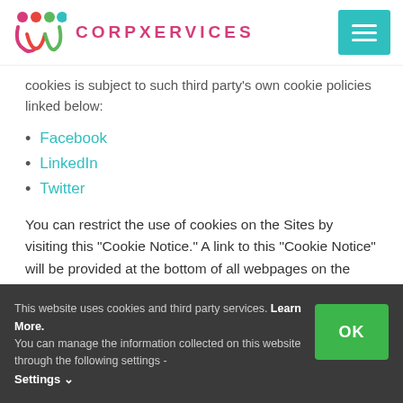CORPXERVICES
cookies is subject to such third party's own cookie policies linked below:
Facebook
LinkedIn
Twitter
You can restrict the use of cookies on the Sites by visiting this “Cookie Notice.” A link to this “Cookie Notice” will be provided at the bottom of all webpages on the Sites. You may also restrict or disable the use
This website uses cookies and third party services. Learn More. You can manage the information collected on this website through the following settings - Settings